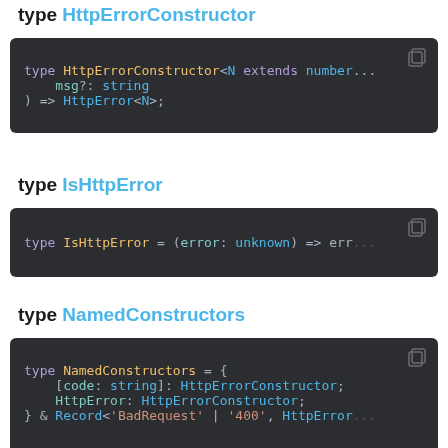type HttpErrorConstructor
[Figure (screenshot): Code block showing: type HttpErrorConstructor<N extends number> = (msg?: string) => HttpError<N>;]
type IsHttpError
[Figure (screenshot): Code block showing: type IsHttpError = (error: unknown) => err...]
type NamedConstructors
[Figure (screenshot): Code block showing: type NamedConstructors = { [code: string]: HttpErrorConstructor; HttpError: HttpErrorConstructor; } & Record<'BadRequest' | '400', HttpError...]